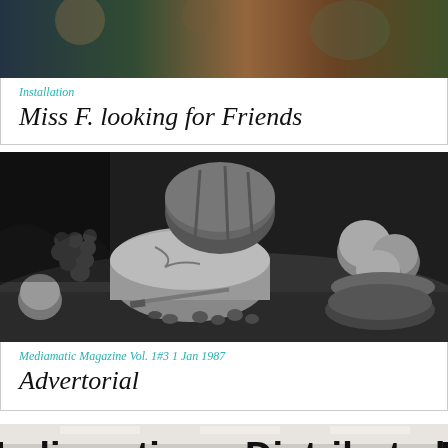Installation
Miss F. looking for Friends
[Figure (photo): Black and white still life photograph showing cheese, grapes, apples, and other food items on a table]
Mediamatic Magazine Vol. 1#3 1 Jan 1987
Advertorial
[Figure (photo): Color photograph of people in a library space with 'Mediamatic Distributed Library' text on the wall]